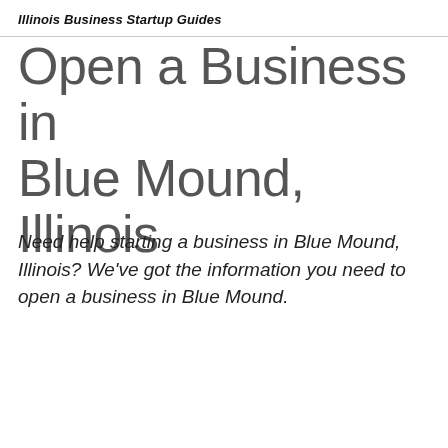Illinois Business Startup Guides
Open a Business in Blue Mound, Illinois
Need help starting a business in Blue Mound, Illinois? We've got the information you need to open a business in Blue Mound.